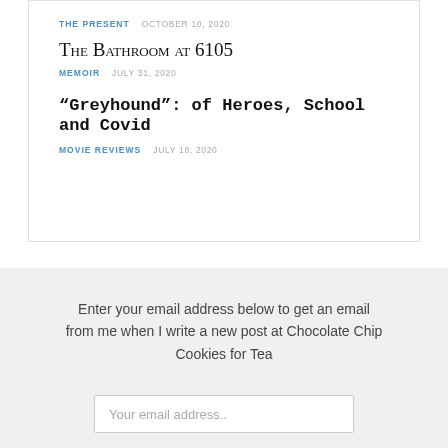THE PRESENT   OCTOBER 10, 2020
The Bathroom at 6105
MEMOIR   JULY 31, 2020
“Greyhound”: of Heroes, School and Covid
MOVIE REVIEWS   JULY 18, 2020
Enter your email address below to get an email from me when I write a new post at Chocolate Chip Cookies for Tea
Your email address..